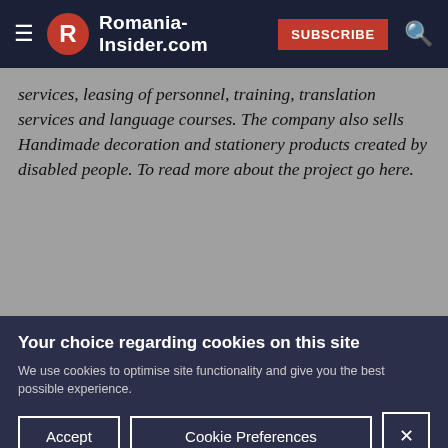Romania-Insider.com SUBSCRIBE
services, leasing of personnel, training, translation services and language courses. The company also sells Handimade decoration and stationery products created by disabled people. To read more about the project go here.
Jobs in top companies
Your choice regarding cookies on this site
We use cookies to optimise site functionality and give you the best possible experience.